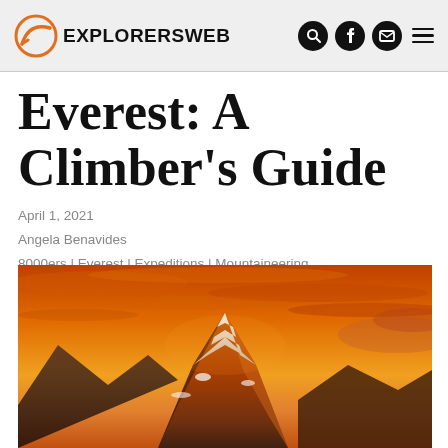EXPLORERSWEB
Everest: A Climber's Guide
April 1, 2021
Angela Benavides
8000ers | Everest | Expeditions | Mountaineering
[Figure (photo): Mountain peak (Everest) illuminated in orange/golden sunset light with dramatic orange-red cloudy sky, snow on lower slopes]